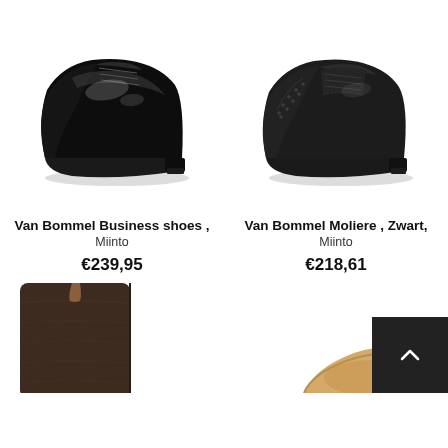[Figure (photo): Black patent leather Oxford dress shoe, side profile, on white background]
Van Bommel Business shoes ,
Miinto
€239,95
[Figure (photo): Black leather Oxford brogue shoe, side profile, on white background]
Van Bommel Moliere , Zwart,
Miinto
€218,61
[Figure (photo): Dark brown/black Chelsea boot, partially visible, on white background]
[Figure (photo): Partially visible shoe, bottom right of page]